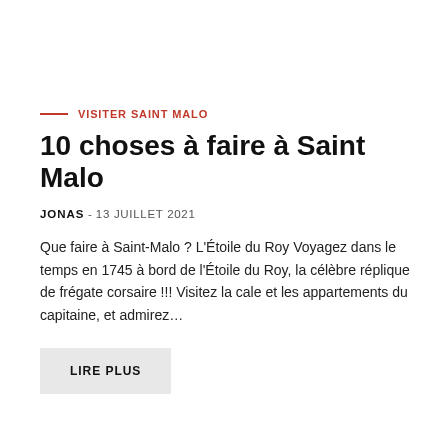VISITER SAINT MALO
10 choses à faire à Saint Malo
JONAS - 13 JUILLET 2021
Que faire à Saint-Malo ? L'Étoile du Roy Voyagez dans le temps en 1745 à bord de l'Étoile du Roy, la célèbre réplique de frégate corsaire !!! Visitez la cale et les appartements du capitaine, et admirez…
LIRE PLUS